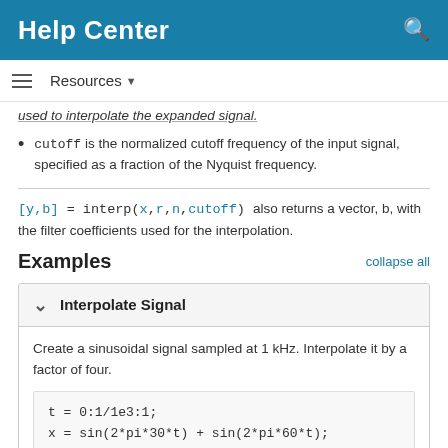Help Center
Resources ▼
used to interpolate the expanded signal.
cutoff is the normalized cutoff frequency of the input signal, specified as a fraction of the Nyquist frequency.
[y,b] = interp(x,r,n,cutoff) also returns a vector, b, with the filter coefficients used for the interpolation.
Examples
collapse all
Interpolate Signal
Create a sinusoidal signal sampled at 1 kHz. Interpolate it by a factor of four.
t = 0:1/1e3:1;
x = sin(2*pi*30*t) + sin(2*pi*60*t);
y = interp(x,4);